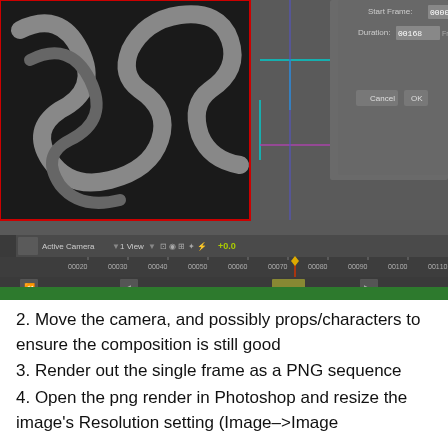[Figure (screenshot): After Effects / 3D animation software screenshot showing a composition window with a dark serpentine/snake render, a settings dialog with Start Frame: 00000, Duration: 00168, Frames @ 24 fps, Cancel and OK buttons, and a timeline panel below with frame markers from 00020 to 00110, Active Camera / 1 View toolbar, and a green layer bar at the bottom.]
2. Move the camera, and possibly props/characters to ensure the composition is still good
3. Render out the single frame as a PNG sequence
4. Open the png render in Photoshop and resize the image’s Resolution setting (Image–>Image